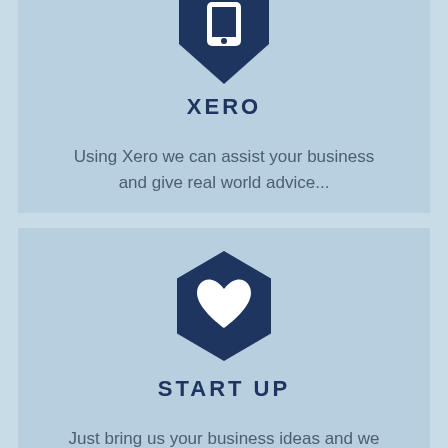[Figure (illustration): Dark navy hexagon/shield icon with a white phone symbol, representing Xero service]
XERO
Using Xero we can assist your business and give real world advice...
[Figure (illustration): Dark navy hexagon icon with a white heart symbol, representing Start Up service]
START UP
Just bring us your business ideas and we will help you to make them a reality!